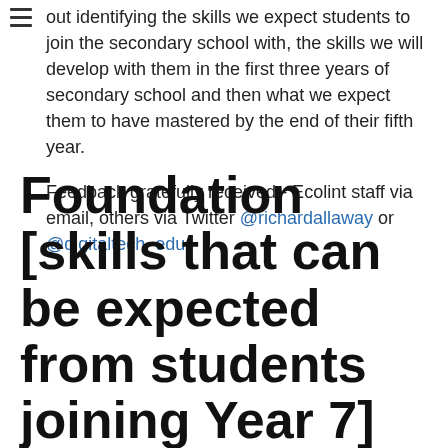The skills are not intended to be sequential. It is more about identifying the skills we expect students to join the secondary school with, the skills we will develop with them in the first three years of secondary school and then what we expect them to have mastered by the end of their fifth year.
Feedback gratefully received - Ecolint staff via email, others via Twitter @richardallaway or @digitaltech_edu.
Foundation [skills that can be expected from students joining Year 7]